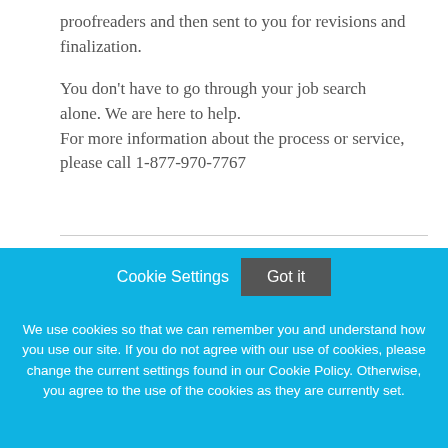proofreaders and then sent to you for revisions and finalization.
You don't have to go through your job search alone. We are here to help.
For more information about the process or service, please call 1-877-970-7767
Cookie Settings  Got it
We use cookies so that we can remember you and understand how you use our site. If you do not agree with our use of cookies, please change the current settings found in our Cookie Policy. Otherwise, you agree to the use of the cookies as they are currently set.